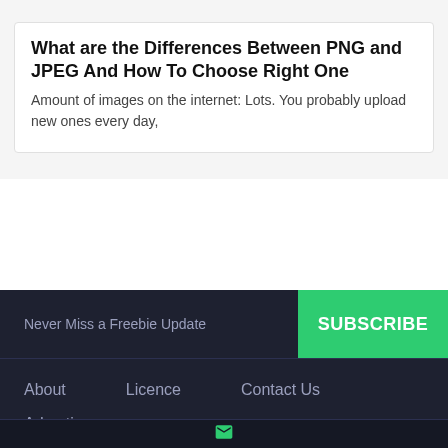What are the Differences Between PNG and JPEG And How To Choose Right One
Amount of images on the internet: Lots. You probably upload new ones every day,
Never Miss a Freebie Update
SUBSCRIBE
About
Licence
Contact Us
Advertise
[Figure (other): Social media icons: Facebook, Twitter, Dribbble, Behance, Pinterest, RSS]
[Figure (other): Envelope/email icon in green at the bottom bar]